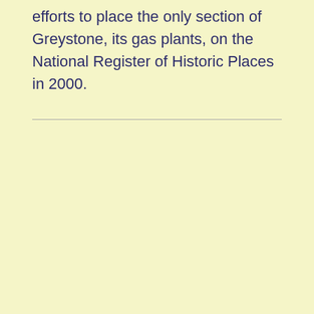efforts to place the only section of Greystone, its gas plants, on the National Register of Historic Places in 2000.